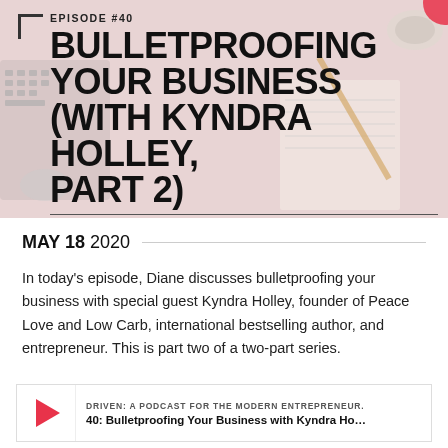[Figure (photo): Hero banner with blurred desk background (keyboard, notebook, pencil, coffee cup) with pink/rose tones. Contains episode number label, large bold title text, horizontal divider, and podcast tagline.]
EPISODE #40
BULLETPROOFING YOUR BUSINESS (WITH KYNDRA HOLLEY, PART 2)
DRIVEN: A podcast for the modern entrepreneur.
MAY 18 2020
In today's episode, Diane discusses bulletproofing your business with special guest Kyndra Holley, founder of Peace Love and Low Carb, international bestselling author, and entrepreneur. This is part two of a two-part series.
[Figure (screenshot): Podcast player card with red/pink play button triangle on left, show name 'DRIVEN: A PODCAST FOR THE MODERN ENTREPRENEUR.' and episode title '40: Bulletproofing Your Business with Kyndra Ho...']